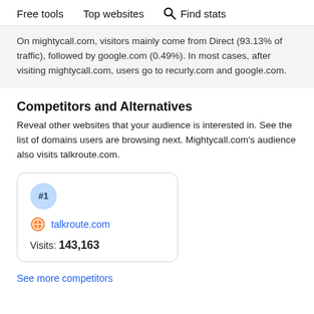Free tools   Top websites   🔍 Find stats
On mightycall.com, visitors mainly come from Direct (93.13% of traffic), followed by google.com (0.49%). In most cases, after visiting mightycall.com, users go to recurly.com and google.com.
Competitors and Alternatives
Reveal other websites that your audience is interested in. See the list of domains users are browsing next. Mightycall.com's audience also visits talkroute.com.
#1
talkroute.com
Visits: 143,163
See more competitors